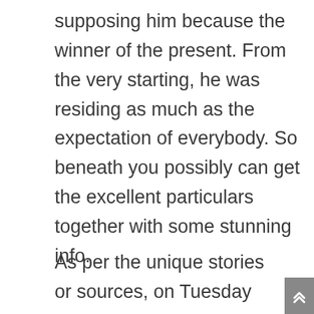supposing him because the winner of the present. From the very starting, he was residing as much as the expectation of everybody. So beneath you possibly can get the excellent particulars together with some stunning info.
As per the unique stories or sources, on Tuesday